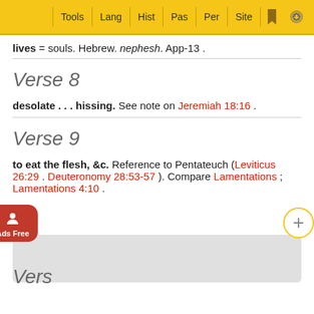Tools | Lang | Hist | Pas | Per | Site
lives = souls. Hebrew. nephesh. App-13 .
Verse 8
desolate . . . hissing. See note on Jeremiah 18:16 .
Verse 9
to eat the flesh, &c. Reference to Pentateuch (Leviticus 26:29 . Deuteronomy 28:53-57 ). Compare Lamentations ; Lamentations 4:10 .
Vers…